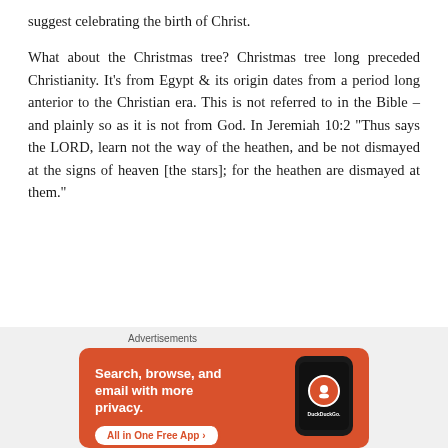suggest celebrating the birth of Christ.
What about the Christmas tree? Christmas tree long preceded Christianity. It's from Egypt & its origin dates from a period long anterior to the Christian era. This is not referred to in the Bible – and plainly so as it is not from God. In Jeremiah 10:2 “Thus says the LORD, learn not the way of the heathen, and be not dismayed at the signs of heaven [the stars]; for the heathen are dismayed at them.”
[Figure (other): DuckDuckGo advertisement banner with orange background. Text: 'Search, browse, and email with more privacy. All in One Free App'. Shows a phone with DuckDuckGo logo.]